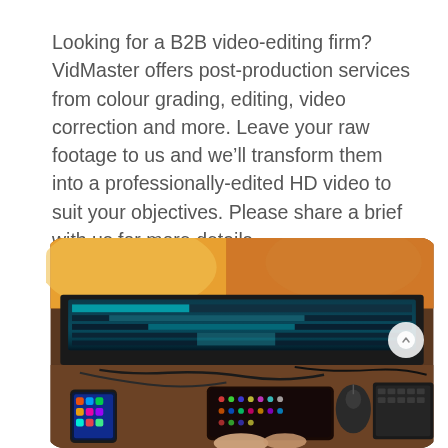Looking for a B2B video-editing firm? VidMaster offers post-production services from colour grading, editing, video correction and more. Leave your raw footage to us and we'll transform them into a professionally-edited HD video to suit your objectives. Please share a brief with us for more details.
[Figure (photo): Overhead view of a video editing workstation showing a large monitor with video timeline and colour-graded footage, with hands operating a control surface/keyboard, a mouse, and a smartphone on a wooden desk.]